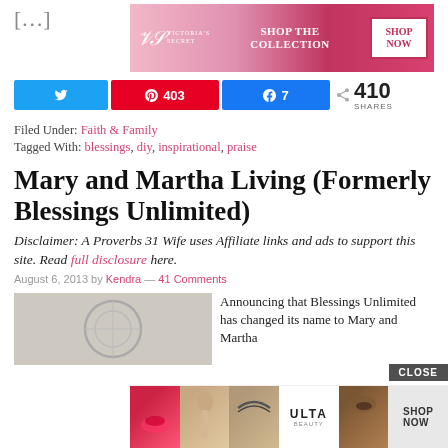[…]
[Figure (photo): Victoria's Secret advertisement banner: Shop The Collection - Shop Now]
[Figure (infographic): Social share buttons: Twitter share, Pinterest 403, Facebook 7, and 410 SHARES total]
Filed Under: Faith & Family
Tagged With: blessings, diy, inspirational, praise
Mary and Martha Living (Formerly Blessings Unlimited)
Disclaimer: A Proverbs 31 Wife uses Affiliate links and ads to support this site. Read full disclosure here.
August 6, 2013 by Kendra — 41 Comments
Announcing that Blessings Unlimited has changed its name to Mary and Martha
[Figure (photo): Article thumbnail image placeholder with circular graphic]
[Figure (photo): Ulta Beauty advertisement overlay with makeup images and Shop Now button and CLOSE button]